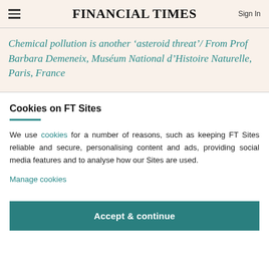FINANCIAL TIMES
Chemical pollution is another ‘asteroid threat’/ From Prof Barbara Demeneix, Muséum National d’Histoire Naturelle, Paris, France
Cookies on FT Sites
We use cookies for a number of reasons, such as keeping FT Sites reliable and secure, personalising content and ads, providing social media features and to analyse how our Sites are used.
Manage cookies
Accept & continue